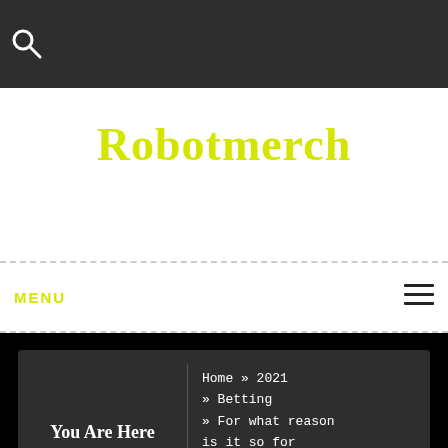🔍
Robotmerch
MENU
You Are Here | Home » 2021 » Betting » For what reason is it so for AIABET365 betting site?